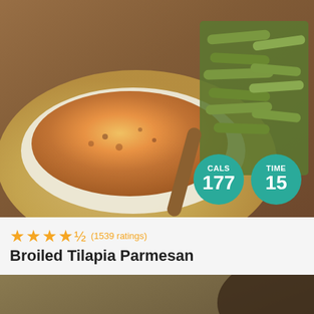[Figure (photo): Broiled tilapia parmesan on a plate with green beans, top-down view on wooden surface]
CALS 177
TIME 15
★★★★½ (1539 ratings)
Broiled Tilapia Parmesan
[Figure (photo): Breaded avocado slices on a wooden cutting board, close-up view]
TOP